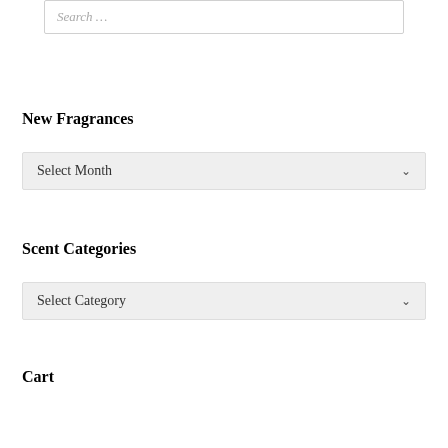Search ...
New Fragrances
Select Month
Scent Categories
Select Category
Cart